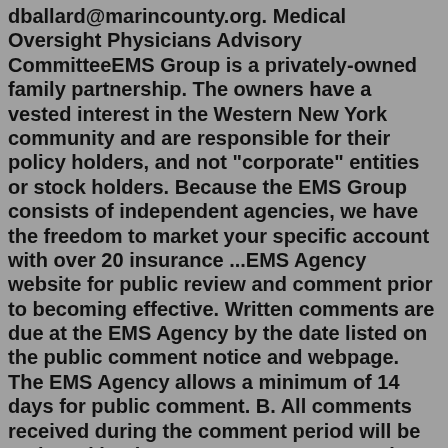dballard@marincounty.org. Medical Oversight Physicians Advisory CommitteeEMS Group is a privately-owned family partnership. The owners have a vested interest in the Western New York community and are responsible for their policy holders, and not "corporate" entities or stock holders. Because the EMS Group consists of independent agencies, we have the freedom to market your specific account with over 20 insurance ...EMS Agency website for public review and comment prior to becoming effective. Written comments are due at the EMS Agency by the date listed on the public comment notice and webpage. The EMS Agency allows a minimum of 14 days for public comment. B. All comments received during the comment period will be reviewed by the EMS AgencyWe Strengthen America's Emergency Medical Service Systems. Working with our federal partners, NHTSA's Office of EMS advances a national vision for EMS through projects and research; fosters collaboration among federal agencies involved in EMS planning; measures the health of the nation's